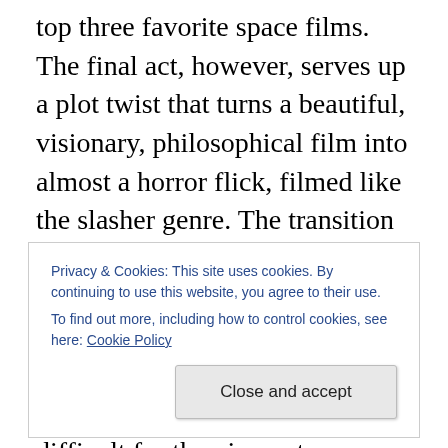top three favorite space films. The final act, however, serves up a plot twist that turns a beautiful, visionary, philosophical film into almost a horror flick, filmed like the slasher genre. The transition is so sudden and such a jolting derailing of everything that had been building up beforehand, that the negative effect it has on the film as a whole can be difficult for the viewer to move past. Therefore, the biggest benefit of this review is that if someone watches “Sunshine” expecting one of the worst climaxes in recent memory, then it will not have such a jolting, crushing impact on all of the great things about the
Privacy & Cookies: This site uses cookies. By continuing to use this website, you agree to their use.
To find out more, including how to control cookies, see here: Cookie Policy